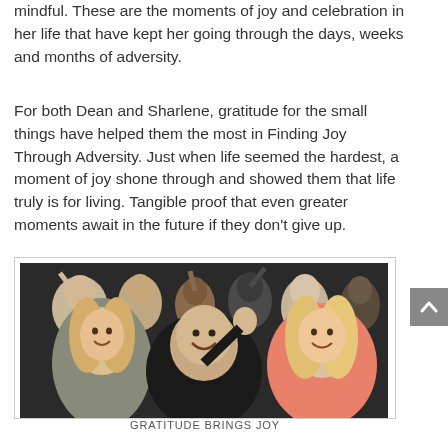…mindful. These are the moments of joy and celebration in her life that have kept her going through the days, weeks and months of adversity.
For both Dean and Sharlene, gratitude for the small things have helped them the most in Finding Joy Through Adversity. Just when life seemed the hardest, a moment of joy shone through and showed them that life truly is for living. Tangible proof that even greater moments await in the future if they don't give up.
[Figure (photo): Group photo of people sitting in audience, waving and smiling. In the front row are a blonde woman on the left, a bald man in the center wearing black, and a blonde woman in a floral top on the right.]
GRATITUDE BRINGS JOY